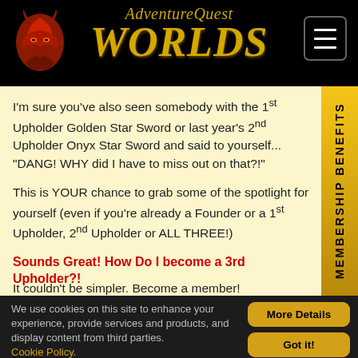AdventureQuest Worlds
I'm sure you've also seen somebody with the 1st Upholder Golden Star Sword or last year's 2nd Upholder Onyx Star Sword and said to yourself... "DANG! WHY did I have to miss out on that?!"
This is YOUR chance to grab some of the spotlight for yourself (even if you're already a Founder or a 1st Upholder, 2nd Upholder or ALL THREE!)
Sounds Great! How Do I become a 3rd Upholder?!
It couldn't be simpler. Become a member!
We use cookies on this site to enhance your experience, provide services and products, and display content from third parties. Cookie Policy.